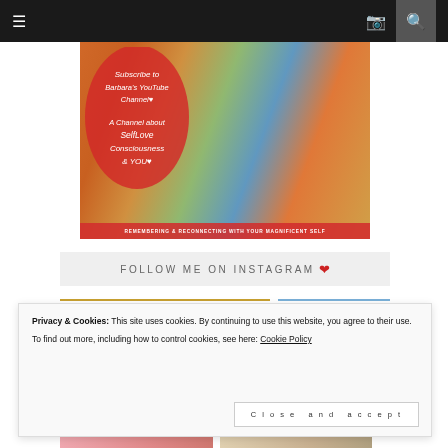[Figure (screenshot): Website navigation bar with hamburger menu icon on left, Instagram camera icon and search icon on right, dark background]
[Figure (photo): Promotional banner image for Barbara's YouTube channel about SelfLove, Consciousness & YOU. Features group of women, red heart overlay with white handwritten text. Bottom banner reads REMEMBERING & RECONNECTING WITH YOUR MAGNIFICENT SELF]
FOLLOW ME ON INSTAGRAM ❤
Privacy & Cookies: This site uses cookies. By continuing to use this website, you agree to their use.
To find out more, including how to control cookies, see here: Cookie Policy
Close and accept